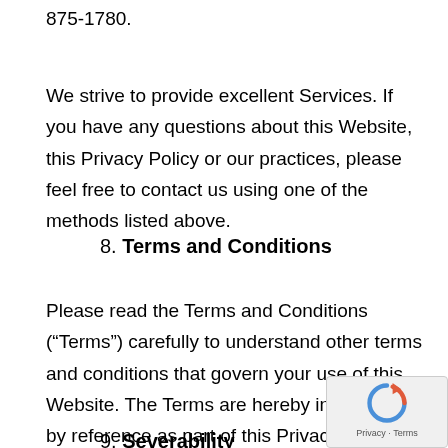875-1780.
We strive to provide excellent Services. If you have any questions about this Website, this Privacy Policy or our practices, please feel free to contact us using one of the methods listed above.
8. Terms and Conditions
Please read the Terms and Conditions (“Terms”) carefully to understand other terms and conditions that govern your use of this Website. The Terms are hereby incorporated by reference as part of this Privacy Policy.
9. Severability